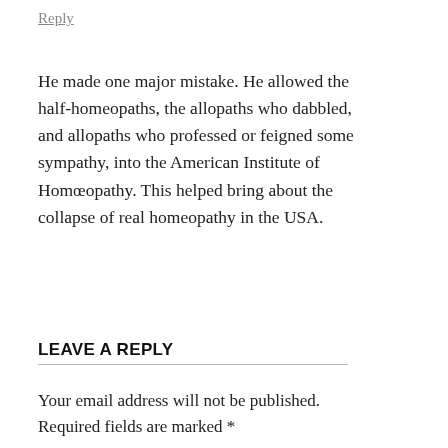Reply
He made one major mistake. He allowed the half-homeopaths, the allopaths who dabbled, and allopaths who professed or feigned some sympathy, into the American Institute of Homœopathy. This helped bring about the collapse of real homeopathy in the USA.
LEAVE A REPLY
Your email address will not be published. Required fields are marked *